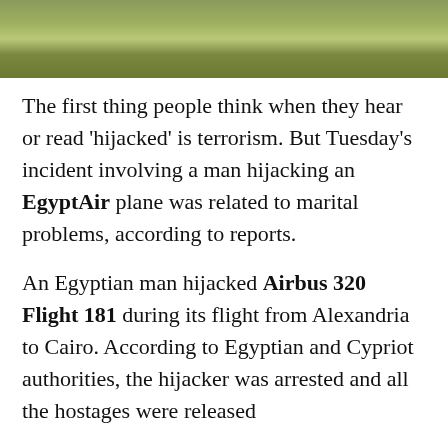[Figure (photo): Aerial or ground-level photo showing a grassy/field landscape, likely an airfield or open ground area.]
The first thing people think when they hear or read 'hijacked' is terrorism. But Tuesday's incident involving a man hijacking an EgyptAir plane was related to marital problems, according to reports.
An Egyptian man hijacked Airbus 320 Flight 181 during its flight from Alexandria to Cairo. According to Egyptian and Cypriot authorities, the hijacker was arrested and all the hostages were released
Egypt's Ministry of Civil Aviation said there were 81 passengers aboard the plane, which took off at about